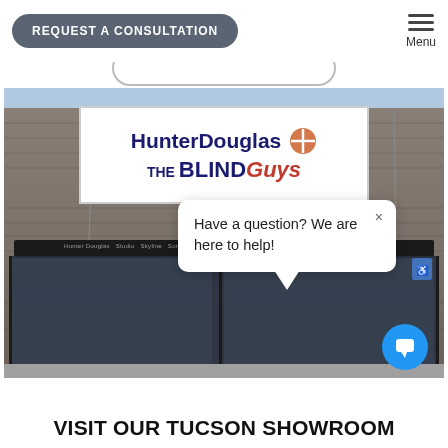REQUEST A CONSULTATION | Menu
[Figure (photo): Exterior storefront photo of a HunterDouglas / The Blind Guys showroom, a brick building with a large white sign reading HunterDouglas THE BLIND Guys. A chat popup overlay reads: Have a question? We are here to help! A blue chat FAB button is visible at bottom right.]
VISIT OUR TUCSON SHOWROOM